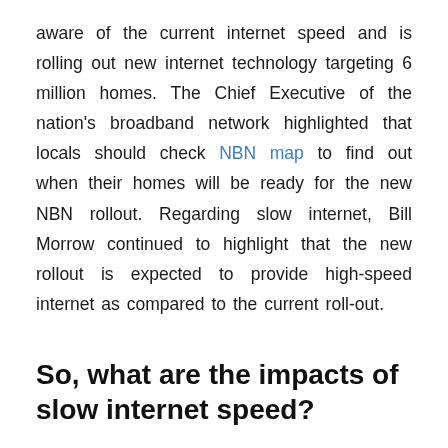aware of the current internet speed and is rolling out new internet technology targeting 6 million homes. The Chief Executive of the nation's broadband network highlighted that locals should check NBN map to find out when their homes will be ready for the new NBN rollout. Regarding slow internet, Bill Morrow continued to highlight that the new rollout is expected to provide high-speed internet as compared to the current roll-out.
So, what are the impacts of slow internet speed?
Australians have now come into terms with the fact